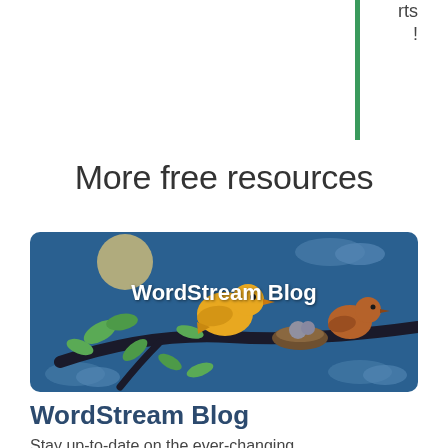rts
!
More free resources
[Figure (illustration): WordStream Blog card with illustrated birds sitting on a branch against a dark blue background with clouds and leaves. White bold text reads 'WordStream Blog'.]
WordStream Blog
Stay up-to-date on the ever-changing world of digital marketing with daily